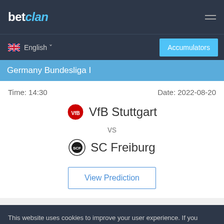betclan
English
Accumulators
Germany Bundesliga I
Time: 14:30
Date: 2022-08-20
VfB Stuttgart vs SC Freiburg
View Prediction
This website uses cookies to improve your user experience. If you continue on this website, you will be providing your consent to our use of cookies.
Info
Accept